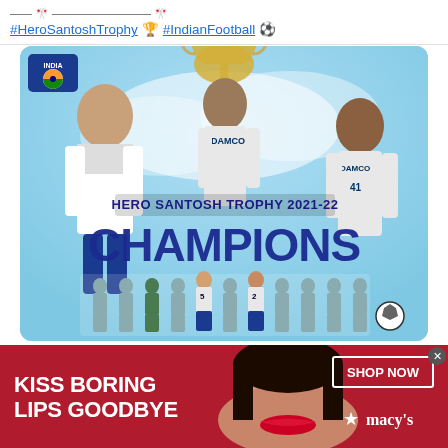#HeroSantoshTrophy 🏆 #IndianFootball ⚽
[Figure (photo): Hero Santosh Trophy 2021-22 Champions promotional image featuring Indian football team players celebrating with the trophy. INDIA badge visible in top-left corner. Bold text reads 'HERO SANTOSH TROPHY 2021-22' and 'CHAMPIONS' over a light blue background with team photo at the bottom.]
[Figure (photo): Advertisement banner with red background showing a woman's face with red lips. Text reads 'KISS BORING LIPS GOODBYE' with 'SHOP NOW' button and Macy's star logo on the right side.]